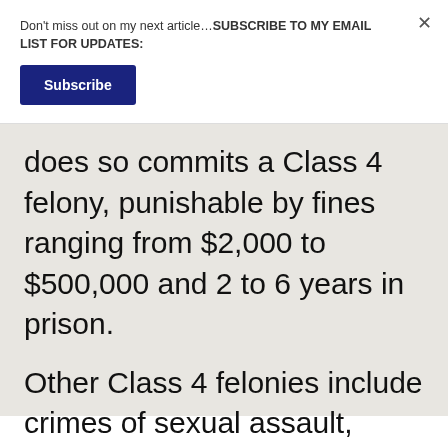Don't miss out on my next article…SUBSCRIBE TO MY EMAIL LIST FOR UPDATES:
Subscribe
does so commits a Class 4 felony, punishable by fines ranging from $2,000 to $500,000 and 2 to 6 years in prison.
Other Class 4 felonies include crimes of sexual assault, manslaughter, vehicular homicide, and identity theft.